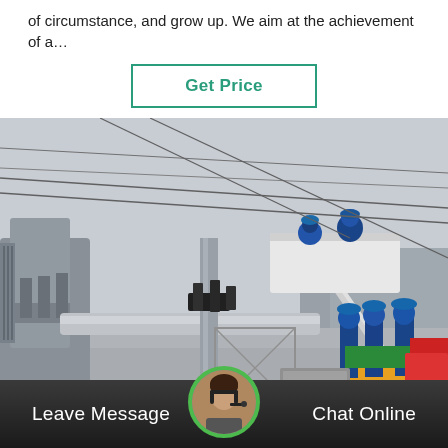of circumstance, and grow up. We aim at the achievement of a…
Get Price
[Figure (photo): Workers in blue uniforms and hard hats operating a cherry picker / aerial work platform at an electrical substation, working on high-voltage power lines and equipment. Large transformer visible on the left, yellow truck/crane on the right, industrial setting with overhead wires.]
Leave Message
Chat Online